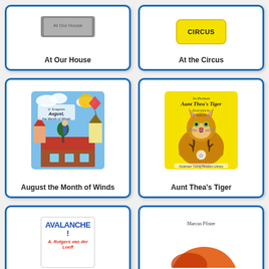[Figure (illustration): Book cover for 'At Our House' - partially visible at top, blue-bordered card]
At Our House
[Figure (illustration): Book cover for 'At the Circus' with yellow background label, blue-bordered card]
At the Circus
[Figure (illustration): Book cover for 'August the Month of Winds' showing a colorful illustrated scene of a person on a rooftop with kites and town in background]
August the Month of Winds
[Figure (illustration): Book cover for 'Aunt Thea's Tiger' by Jo Postum, illustrated by Erhard Dietz - showing a large sitting tiger on yellow background, Andersen Young Readers Library]
Aunt Thea's Tiger
[Figure (illustration): Book cover for 'Avalanche!' by A. Rutgers van der Loeff - white cover with bold blue AVALANCHE! title and red subtitle]
[Figure (illustration): Book cover by Marcus Pfister - partially visible, showing orange/red illustration on white background]